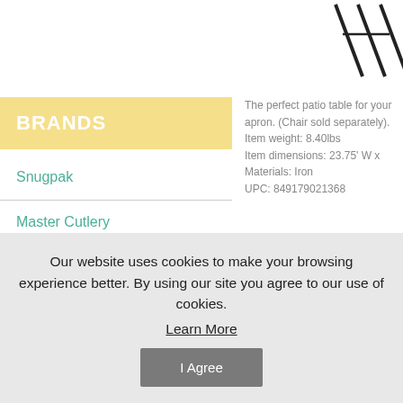[Figure (logo): Partial logo or signature graphic in top right corner]
BRANDS
Snugpak
Master Cutlery
Classic Accessories
Summerfield Terrace
bulk buys
The perfect patio table for your apron. (Chair sold separately). Item weight: 8.40lbs Item dimensions: 23.75' W x Materials: Iron UPC: 849179021368
Our website uses cookies to make your browsing experience better. By using our site you agree to our use of cookies. Learn More I Agree